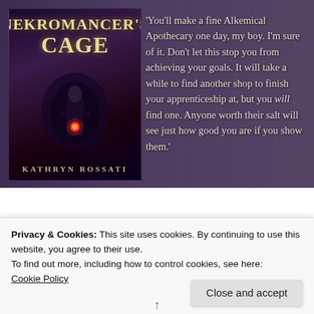[Figure (illustration): Book cover of 'Nekromancer's Cage' by Kathryn Rossati showing a dark figure with a glowing red light in a tunnel/archway, dark purple fantasy aesthetic]
'You'll make a fine Alkemical Apothecary one day, my boy. I'm sure of it. Don't let this stop you from achieving your goals. It will take a while to find another shop to finish your apprenticeship at, but you will find one. Anyone worth their salt will see just how good you are if you show them.'
Treethallow Musings
Privacy & Cookies: This site uses cookies. By continuing to use this website, you agree to their use.
To find out more, including how to control cookies, see here:
Cookie Policy
Close and accept